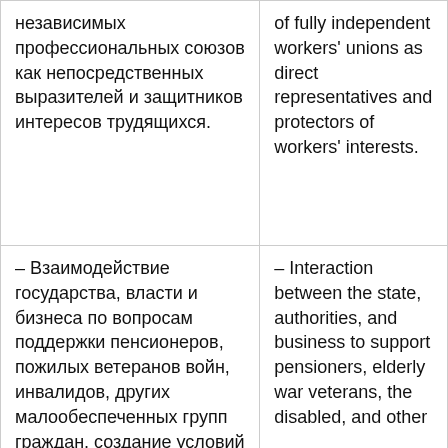независимых профессиональных союзов как непосредственных выразителей и защитников интересов трудящихся.
of fully independent workers' unions as direct representatives and protectors of workers' interests.
– Взаимодействие государства, власти и бизнеса по вопросам поддержки пенсионеров, пожилых ветеранов войн, инвалидов, других малообеспеченных групп граждан, создание условий для достойной жизни людей.
– Interaction between the state, authorities, and business to support pensioners, elderly war veterans, the disabled, and other